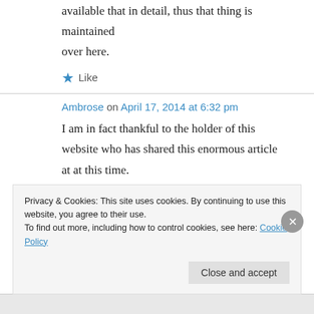available that in detail, thus that thing is maintained over here.
Like
Ambrose on April 17, 2014 at 6:32 pm
I am in fact thankful to the holder of this website who has shared this enormous article at at this time.
Privacy & Cookies: This site uses cookies. By continuing to use this website, you agree to their use. To find out more, including how to control cookies, see here: Cookie Policy
Close and accept